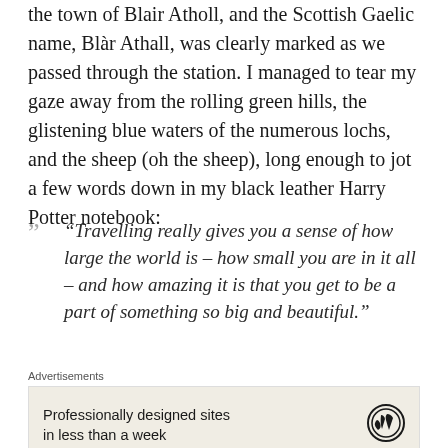the town of Blair Atholl, and the Scottish Gaelic name, Blàr Athall, was clearly marked as we passed through the station. I managed to tear my gaze away from the rolling green hills, the glistening blue waters of the numerous lochs, and the sheep (oh the sheep), long enough to jot a few words down in my black leather Harry Potter notebook:
“Travelling really gives you a sense of how large the world is – how small you are in it all – and how amazing it is that you get to be a part of something so big and beautiful.”
Advertisements
[Figure (other): Advertisement box with text 'Professionally designed sites in less than a week' and WordPress logo]